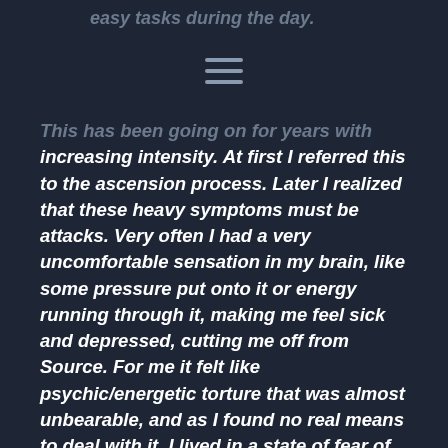easy tasks during the day.
This has been going on for years with increasing intensity. At first I referred this to the ascension process. Later I realized that these heavy symptoms must be attacks. Very often I had a very uncomfortable sensation in my brain, like some pressure put onto it or energy running through it, making me feel sick and depressed, cutting me off from Source. For me it felt like psychic/energetic torture that was almost unbearable, and as I found no real means to deal with it, I lived in a state of fear of how to survive energetically.

Of course I tried many many things, went to healers, acquired some healing techniques myself, nothing seemed to work in the long run.